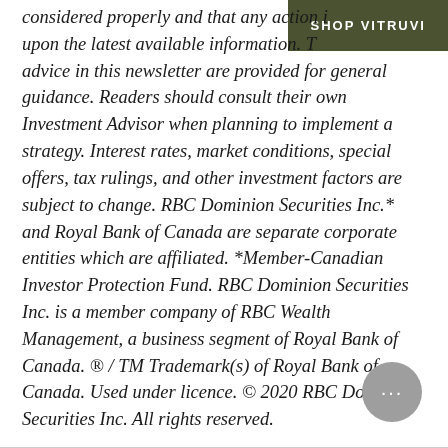SHOP VITRUVI
considered properly and that any action is based upon the latest available information. The advice in this newsletter are provided for general guidance. Readers should consult their own Investment Advisor when planning to implement a strategy. Interest rates, market conditions, special offers, tax rulings, and other investment factors are subject to change. RBC Dominion Securities Inc.* and Royal Bank of Canada are separate corporate entities which are affiliated. *Member-Canadian Investor Protection Fund. RBC Dominion Securities Inc. is a member company of RBC Wealth Management, a business segment of Royal Bank of Canada. ® / TM Trademark(s) of Royal Bank of Canada. Used under licence. © 2020 RBC Dominion Securities Inc. All rights reserved.